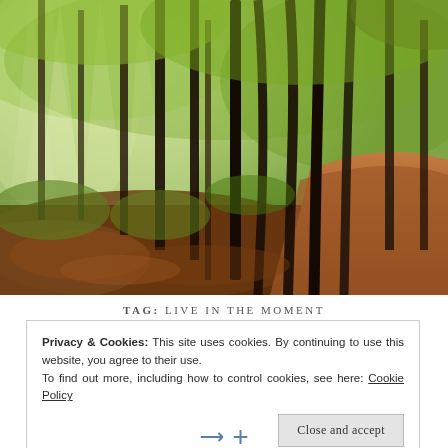[Figure (photo): A sunlit forest scene with tall trees, green foliage, light rays filtering through mist, and a forest floor covered with brown autumn leaves. A hillside covered in fallen leaves is visible on the right.]
TAG: LIVE IN THE MOMENT
Privacy & Cookies: This site uses cookies. By continuing to use this website, you agree to their use.
To find out more, including how to control cookies, see here: Cookie Policy
Close and accept